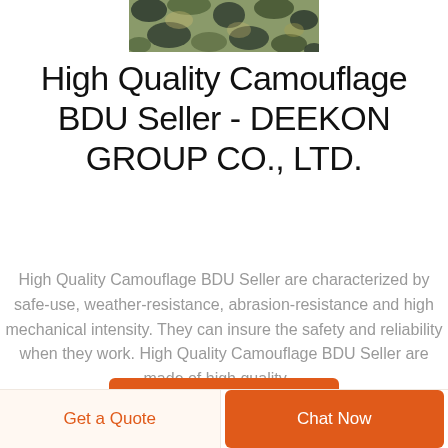[Figure (photo): Camouflage BDU product photo showing green/dark camouflage pattern fabric, cropped at top]
High Quality Camouflage BDU Seller - DEEKON GROUP CO., LTD.
High Quality Camouflage BDU Seller are characterized by safe-use, weather-resistance, abrasion-resistance and high mechanical intensity. They can insure the safety and reliability when they work. High Quality Camouflage BDU Seller are made of high quality ...
LEARN MORE
Get a Quote
Chat Now